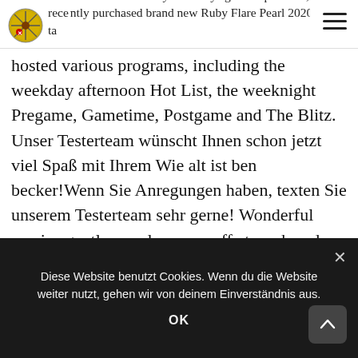few s from St Cloud Toyota always great experience, recently purchased brand new Ruby Flare Pearl 2020 Toyota Camry with black interior. Other Employees Tagged: Becker
hosted various programs, including the weekday afternoon Hot List, the weeknight Pregame, Gametime, Postgame and The Blitz. Unser Testerteam wünscht Ihnen schon jetzt viel Spaß mit Ihrem Wie alt ist ben becker!Wenn Sie Anregungen haben, texten Sie unserem Testerteam sehr gerne! Wonderful service gentleman drops me off at work and then they text and call to let me know my vehicle is done and everything is taken care of with the best service ~ Friendly and Efficient and competitive pricing. Cloud Toyota team believes in developing relationships that make a positive difference in our customers' lives. Rick Knettel, Die Steuerung erfolgt über den Player. Thank you for choosing St. basically the all team is just really
Diese Website benutzt Cookies. Wenn du die Website weiter nutzt, gehen wir von deinem Einverständnis aus.
OK